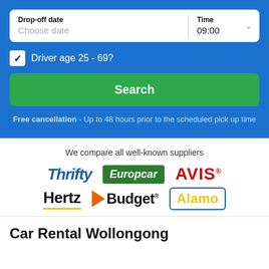Drop-off date
Choose date
Time
09:00
Driver age 25 - 69?
Search
Free cancellation - Up to 48 hours prior to the scheduled pick up time
We compare all well-known suppliers
[Figure (logo): Thrifty car rental logo in blue italic bold text]
[Figure (logo): Europcar logo in white italic text on green background]
[Figure (logo): AVIS logo in red bold text]
[Figure (logo): Hertz logo in black bold text with yellow underline]
[Figure (logo): Budget logo with orange arrow and black bold text]
[Figure (logo): Alamo logo in yellow text with blue border]
Car Rental Wollongong